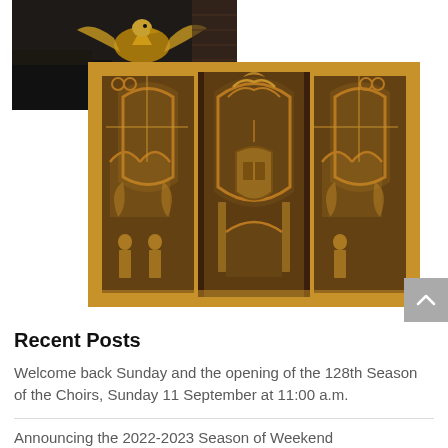[Figure (photo): Partial view of a golden eagle lectern or decorative object in a dark church interior, cropped at top of page]
[Figure (photo): Ornately carved wooden choir screen or reredos featuring Gothic arches, decorative tracery, a central heraldic shield, and two carved figures (saints or religious figures) in the lower panels, warm honey-colored wood]
Recent Posts
Welcome back Sunday and the opening of the 128th Season of the Choirs, Sunday 11 September at 11:00 a.m.
Announcing the 2022-2023 Season of Weekend